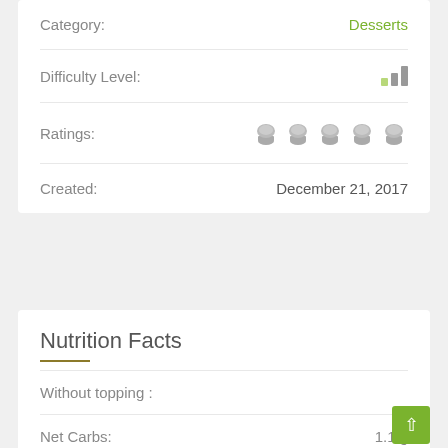Category: Desserts
Difficulty Level:
Ratings:
Created: December 21, 2017
Nutrition Facts
Without topping :
Net Carbs: 1.1 g
Total Fat: 12.9 g
Protein: 3.1